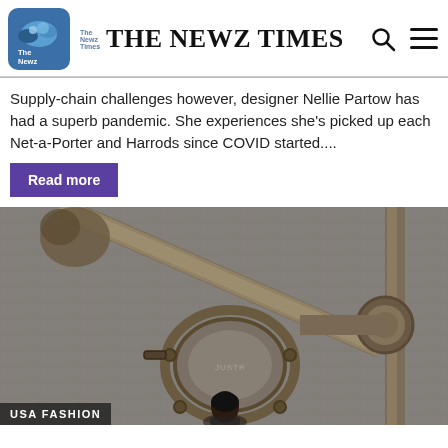THE NEWZ TIMES
Supply-chain challenges however, designer Nellie Partow has had a superb pandemic. She experiences she’s picked up each Net-a-Porter and Harrods since COVID started....
Read more
[Figure (photo): Industrial photo showing rusty pipes, a porthole-like access hatch on a brick wall, and a person standing below. Category label USA FASHION visible at bottom.]